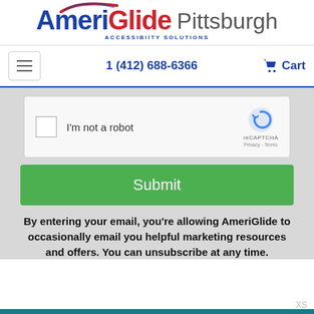[Figure (logo): AmeriGlide Pittsburgh logo with red swoosh accent and 'ACCESSIBILITY SOLUTIONS' tagline]
1 (412) 688-6366   Cart
[Figure (screenshot): reCAPTCHA widget with checkbox and 'I'm not a robot' text, reCAPTCHA logo, Privacy and Terms links]
Submit
By entering your email, you're allowing AmeriGlide to occasionally email you helpful marketing resources and offers. You can unsubscribe at any time.